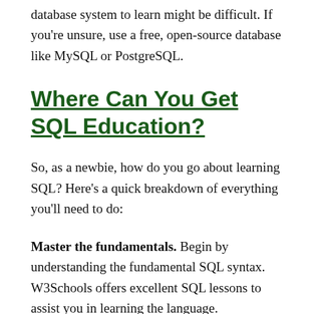database system to learn might be difficult. If you're unsure, use a free, open-source database like MySQL or PostgreSQL.
Where Can You Get SQL Education?
So, as a newbie, how do you go about learning SQL? Here's a quick breakdown of everything you'll need to do:
Master the fundamentals. Begin by understanding the fundamental SQL syntax. W3Schools offers excellent SQL lessons to assist you in learning the language.